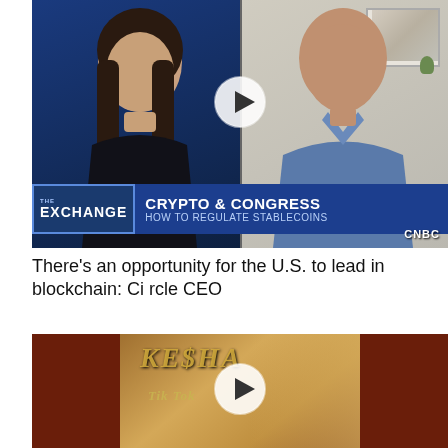[Figure (screenshot): CNBC video thumbnail showing two people: a female anchor on left against blue studio background, and a male guest on right against light background. Lower third graphic reads 'CRYPTO & CONGRESS / HOW TO REGULATE STABLECOINS' with The Exchange logo and CNBC bug. A play button is overlaid in the center.]
There's an opportunity for the U.S. to lead in blockchain: Circle CEO
[Figure (screenshot): Video thumbnail with dark reddish-brown background showing what appears to be a Kesha album cover or music video still with 'KESHA' and 'Tik Tok' text visible, a play button overlaid in the center.]